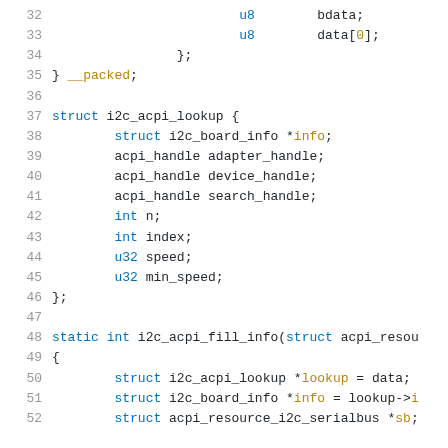[Figure (screenshot): Source code listing in C showing lines 32-52, defining struct i2c_acpi_lookup with fields and a static int function i2c_acpi_fill_info]